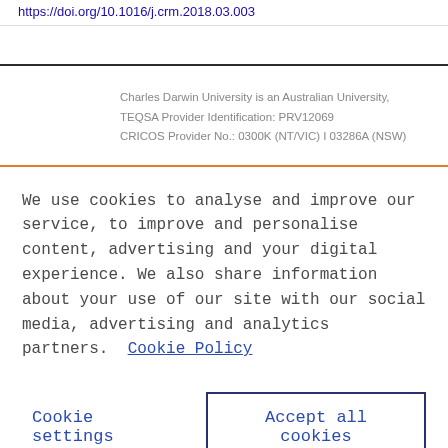https://doi.org/10.1016/j.crm.2018.03.003
Charles Darwin University is an Australian University, TEQSA Provider Identification: PRV12069 CRICOS Provider No.: 0300K (NT/VIC) I 03286A (NSW)
We use cookies to analyse and improve our service, to improve and personalise content, advertising and your digital experience. We also share information about your use of our site with our social media, advertising and analytics partners.  Cookie Policy
Cookie settings
Accept all cookies